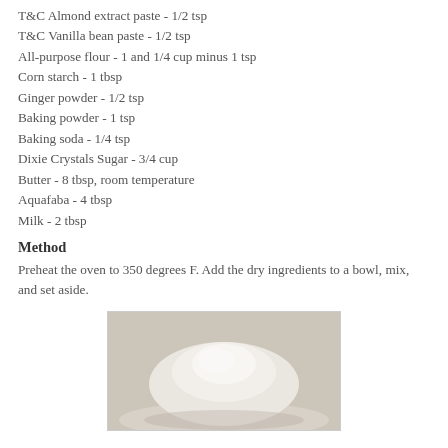T&C Almond extract paste - 1/2 tsp
T&C Vanilla bean paste - 1/2 tsp
All-purpose flour - 1 and 1/4 cup minus 1 tsp
Corn starch - 1 tbsp
Ginger powder - 1/2 tsp
Baking powder - 1 tsp
Baking soda - 1/4 tsp
Dixie Crystals Sugar - 3/4 cup
Butter - 8 tbsp, room temperature
Aquafaba - 4 tbsp
Milk - 2 tbsp
Method
Preheat the oven to 350 degrees F. Add the dry ingredients to a bowl, mix, and set aside.
[Figure (photo): A white bowl containing dry ingredients (flour and other powders) mounded together, photographed from above at a slight angle.]